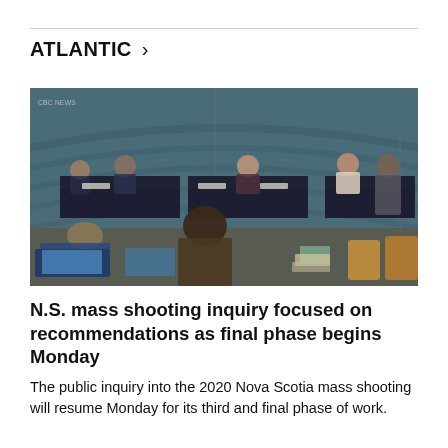ATLANTIC >
[Figure (photo): Photograph of a formal public inquiry hearing room. Panel members sit behind skirted tables at the front, with participants and observers seated in rows facing them, some with laptops open. The background features a dark teal textured wall.]
N.S. mass shooting inquiry focused on recommendations as final phase begins Monday
The public inquiry into the 2020 Nova Scotia mass shooting will resume Monday for its third and final phase of work.